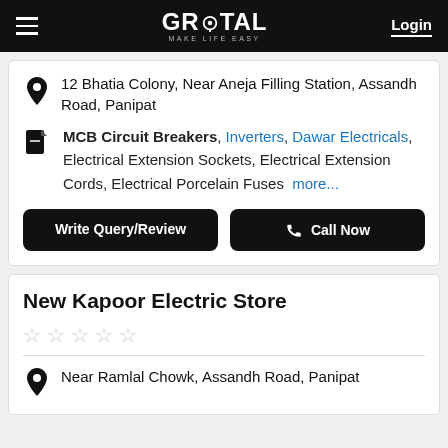GROTAL MAKE LIFE EASY | Login
12 Bhatia Colony, Near Aneja Filling Station, Assandh Road, Panipat
MCB Circuit Breakers, Inverters, Dawar Electricals, Electrical Extension Sockets, Electrical Extension Cords, Electrical Porcelain Fuses more...
Write Query/Review
Call Now
New Kapoor Electric Store
★★★★★
Near Ramlal Chowk, Assandh Road, Panipat